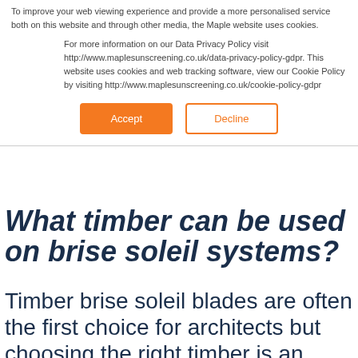To improve your web viewing experience and provide a more personalised service both on this website and through other media, the Maple website uses cookies.
For more information on our Data Privacy Policy visit http://www.maplesunscreening.co.uk/data-privacy-policy-gdpr. This website uses cookies and web tracking software, view our Cookie Policy by visiting http://www.maplesunscreening.co.uk/cookie-policy-gdpr
Accept
Decline
What timber can be used on brise soleil systems?
Timber brise soleil blades are often the first choice for architects but choosing the right timber is an important consideration in the early